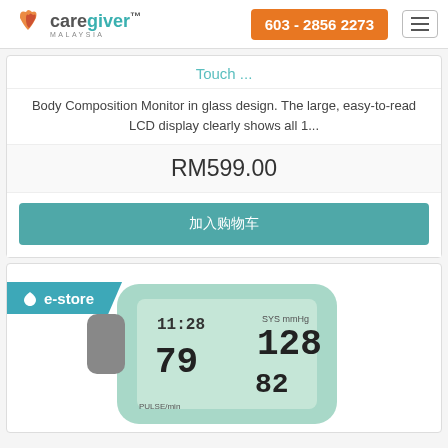[Figure (logo): Caregiver Malaysia logo with heart icon and orange phone button 603-2856-2273 and hamburger menu]
Touch ...
Body Composition Monitor in glass design. The large, easy-to-read LCD display clearly shows all 1...
RM599.00
加入购物车
[Figure (photo): Blood pressure monitor device with teal/mint color LCD display showing 11:28, 128, 79, 82 readings, with e-store badge]